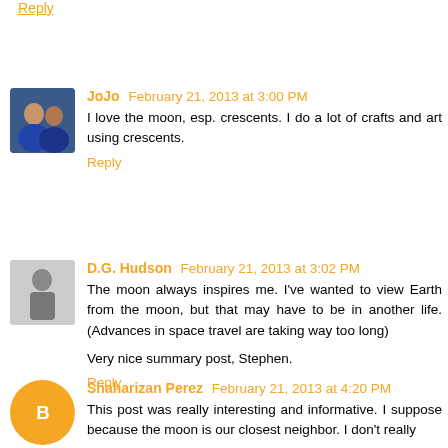Reply
JoJo  February 21, 2013 at 3:00 PM
I love the moon, esp. crescents. I do a lot of crafts and art using crescents.
Reply
D.G. Hudson  February 21, 2013 at 3:02 PM
The moon always inspires me. I've wanted to view Earth from the moon, but that may have to be in another life. (Advances in space travel are taking way too long)

Very nice summary post, Stephen.
Reply
Shaharizan Perez  February 21, 2013 at 4:20 PM
This post was really interesting and informative. I suppose because the moon is our closest neighbor. I don't really